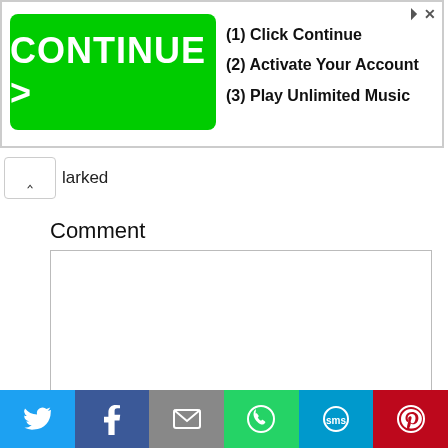[Figure (screenshot): Advertisement banner with green CONTINUE > button on left and text '(1) Click Continue (2) Activate Your Account (3) Play Unlimited Music' on right]
larked
Comment
[Figure (screenshot): Empty comment text area input box with resize handle]
Name *
[Figure (screenshot): Social sharing bar with Twitter, Facebook, Email, WhatsApp, SMS, and Pinterest buttons]